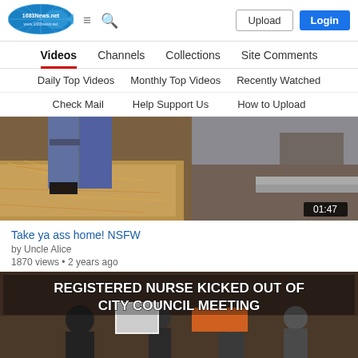[Figure (logo): 1683news.net logo — blue oval with fish-net pattern]
Upload
Login
Videos  Channels  Collections  Site Comments
Daily Top Videos  Monthly Top Videos  Recently Watched
Check Mail  Help Support Us  How to Upload
[Figure (screenshot): Video thumbnail showing person standing near hay bale, duration 01:47]
Take ya ass home! NSFW
by Uncle Alice
1870 views • 2 years ago
[Figure (screenshot): Video thumbnail with white bold text overlay: REGISTERED NURSE KICKED OUT OF CITY COUNCIL MEETING, showing people at a meeting]